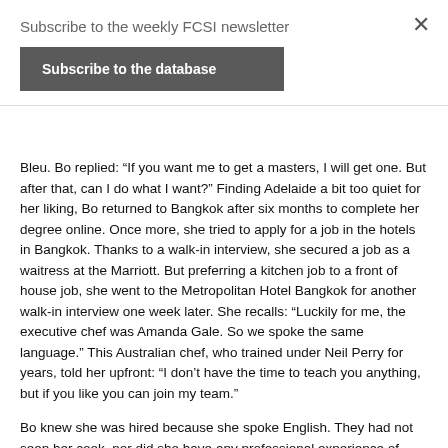Subscribe to the weekly FCSI newsletter
Subscribe to the database
Bleu. Bo replied: “If you want me to get a masters, I will get one. But after that, can I do what I want?” Finding Adelaide a bit too quiet for her liking, Bo returned to Bangkok after six months to complete her degree online. Once more, she tried to apply for a job in the hotels in Bangkok. Thanks to a walk-in interview, she secured a job as a waitress at the Marriott. But preferring a kitchen job to a front of house job, she went to the Metropolitan Hotel Bangkok for another walk-in interview one week later. She recalls: “Luckily for me, the executive chef was Amanda Gale. So we spoke the same language.” This Australian chef, who trained under Neil Perry for years, told her upfront: “I don’t have the time to teach you anything, but if you like you can join my team.”
Bo knew she was hired because she spoke English. They had not seen her cook, nor did she have any professional experience of cooking beyond her training. She joined the team at Cy’an as a commis 3, assigned to pick herbs and peel vegetables. “But because it’s an Aussie kitchen they let you do everything from start to finish, like the British kitchen. It’s not like an American kitchen, where there’s a prep cook or a line cook.” Bo learned how to make an entire dish, not just chopping ingredients. “Chef